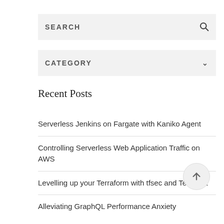SEARCH
CATEGORY
Recent Posts
Serverless Jenkins on Fargate with Kaniko Agent
Controlling Serverless Web Application Traffic on AWS
Levelling up your Terraform with tfsec and Terratest
Alleviating GraphQL Performance Anxiety